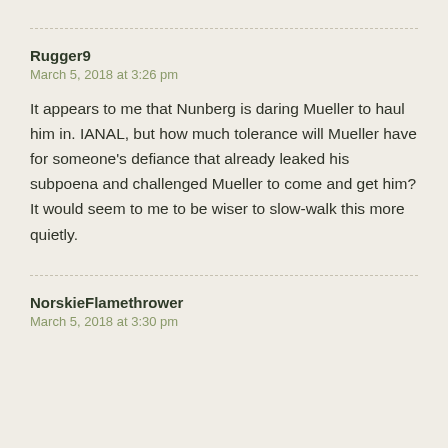Rugger9
March 5, 2018 at 3:26 pm
It appears to me that Nunberg is daring Mueller to haul him in. IANAL, but how much tolerance will Mueller have for someone's defiance that already leaked his subpoena and challenged Mueller to come and get him? It would seem to me to be wiser to slow-walk this more quietly.
NorskieFlamethrower
March 5, 2018 at 3:30 pm